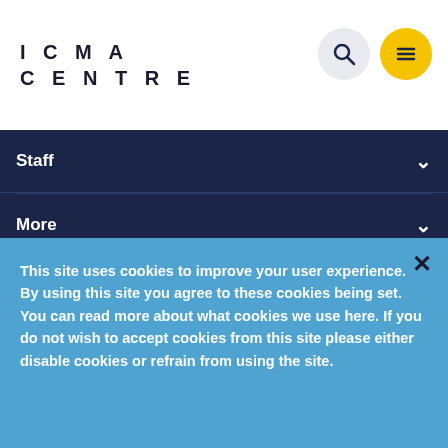[Figure (logo): ICMA CENTRE logo in bold spaced uppercase letters]
[Figure (illustration): Search icon button (magnifying glass) and hamburger menu button (yellow circle with three lines)]
Staff
More
© ICMA Centre 2022
[Figure (logo): Row of partner/affiliation logos at bottom of dark footer area]
This site uses cookies to improve your user experience. By using this site you agree to these cookies being set. You can read more about what cookies we use here. If you do not wish to accept cookies from this site please either disable cookies or refrain from using the site.